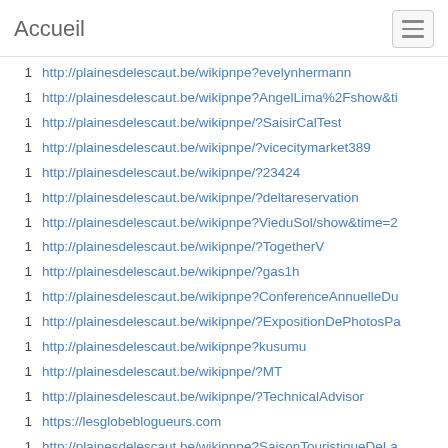Accueil
1  http://plainesdelescaut.be/wikipnpe?evelynhermann
1  http://plainesdelescaut.be/wikipnpe?AngelLima%2Fshow&ti
1  http://plainesdelescaut.be/wikipnpe/?SaisirCalTest
1  http://plainesdelescaut.be/wikipnpe/?vicecitymarket389
1  http://plainesdelescaut.be/wikipnpe/?23424
1  http://plainesdelescaut.be/wikipnpe/?deltareservation
1  http://plainesdelescaut.be/wikipnpe?VieduSol/show&time=2
1  http://plainesdelescaut.be/wikipnpe/?TogetherV
1  http://plainesdelescaut.be/wikipnpe/?gas1h
1  http://plainesdelescaut.be/wikipnpe?ConferenceAnnuelleDu
1  http://plainesdelescaut.be/wikipnpe/?ExpositionDePhotosPa
1  http://plainesdelescaut.be/wikipnpe?kusumu
1  http://plainesdelescaut.be/wikipnpe/?MT
1  http://plainesdelescaut.be/wikipnpe/?TechnicalAdvisor
1  https://lesglobeblogueurs.com
1  http://plainesdelescaut.be/wikipnpe?SaisonTouristiqueDeLa
1  http://plainesdelescaut.be/wikipnpe/?BuyDiamondbackPistol
1  http://plainesdelescaut.be/wikipnpe/?ContactGal
1  https://colibris-wiki.org/Tecap2182/?kyliehale
1  http://plainesdelescaut.be/wikipnpe?VisiteGuideeDesMaraisD